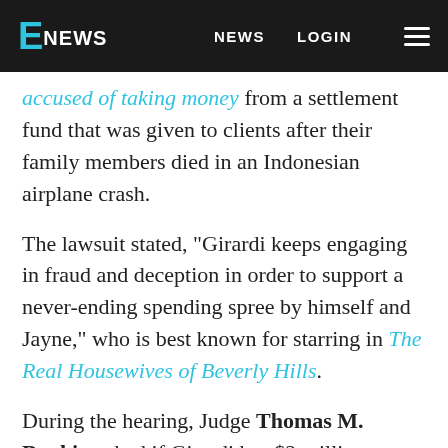E NEWS | NEWS | LOGIN
accused of taking money from a settlement fund that was given to clients after their family members died in an Indonesian airplane crash.
The lawsuit stated, "Girardi keeps engaging in fraud and deception in order to support a never-ending spending spree by himself and Jayne," who is best known for starring in The Real Housewives of Beverly Hills.
During the hearing, Judge Thomas M. Durkin asked if Girardi has $2 million to pay back the families. His attorney said he does "not have the ability to pay," because he is involved in a divorce proceeding and